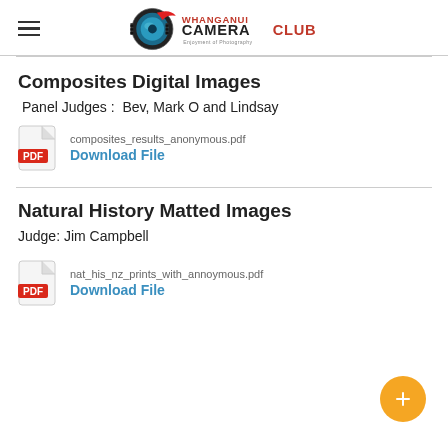Whanganui Camera Club
Composites Digital Images
Panel Judges :  Bev, Mark O and Lindsay
composites_results_anonymous.pdf
Download File
Natural History Matted Images
Judge: Jim Campbell
nat_his_nz_prints_with_annoymous.pdf
Download File